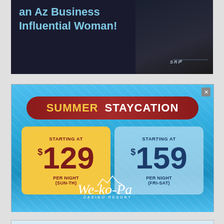[Figure (photo): Top advertisement banner - SRP (Salt River Project) ad showing partial text 'an Az Business Influential Woman!' with a woman in dark jacket, teal text on dark background, SRP logo at bottom right]
[Figure (infographic): We-Ko-Pa Casino Resort Summer Staycation advertisement with blue water background. Dark red pill banner reads 'SUMMER STAYCATION'. Yellow box: STARTING AT $129 PER NIGHT (SUN-TH). Blue box: STARTING AT $159 PER NIGHT (FRI-SAT). We-Ko-Pa Casino Resort logo at bottom.]
[Figure (photo): Bottom advertisement (partially visible) - '2022 MOST INFLUENTIAL WOMEN IN ARIZONA HONOREE' with woman smiling, mountain background, partially cut off at page bottom]